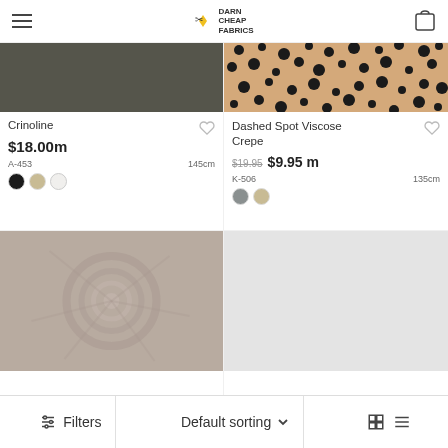Darn Cheap Fabrics - navigation header with hamburger menu and cart
[Figure (photo): Dark grey crinoline fabric swatch]
Crinoline
$18.00m
A-453
145cm
[Figure (photo): Beige fabric with black dashed spots pattern - Dashed Spot Viscose Crepe]
Dashed Spot Viscose Crepe
$19.95  $9.95 m
K-506
135cm
[Figure (photo): Taupe/beige knit fabric with swirl pattern]
[Figure (photo): Light grey fabric swatch]
Filters | Default sorting | Grid/List view toggle